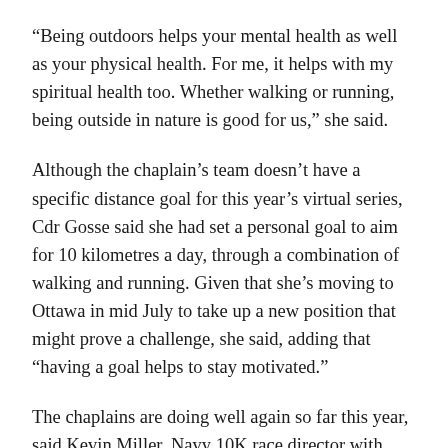“Being outdoors helps your mental health as well as your physical health. For me, it helps with my spiritual health too. Whether walking or running, being outside in nature is good for us,” she said.
Although the chaplain’s team doesn’t have a specific distance goal for this year’s virtual series, Cdr Gosse said she had set a personal goal to aim for 10 kilometres a day, through a combination of walking and running. Given that she’s moving to Ottawa in mid July to take up a new position that might prove a challenge, she said, adding that “having a goal helps to stay motivated.”
The chaplains are doing well again so far this year, said Kevin Miller, Navy 10K race director with Personnel Support Programs (PSP) Halifax. “They won with their total kilometres last year and they already got more than 1,100 kilometres between them in the first month. The chaplains